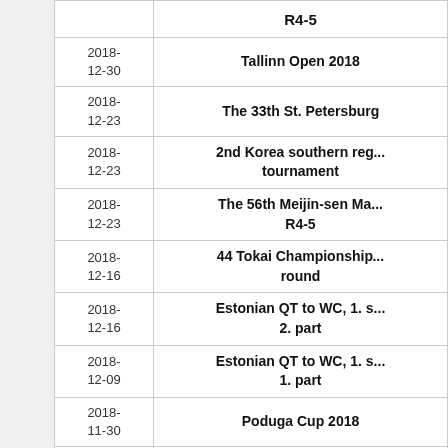| Date | Event |
| --- | --- |
|  | R4-5 |
| 2018-12-30 | Tallinn Open 2018 |
| 2018-12-23 | The 33th St. Petersburg... |
| 2018-12-23 | 2nd Korea southern reg... tournament |
| 2018-12-23 | The 56th Meijin-sen Ma... R4-5 |
| 2018-12-16 | 44 Tokai Championship... round |
| 2018-12-16 | Estonian QT to WC, 1. s... 2. part |
| 2018-12-09 | Estonian QT to WC, 1. s... 1. part |
| 2018-11-30 | Poduga Cup 2018 |
| 2018-11-25 | SOPAI Cup |
| 2018-11-24 | SOPAI CUP B-tournam... |